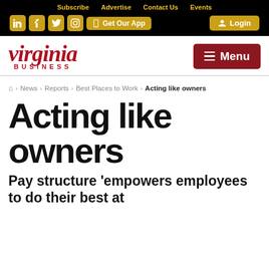Subscribe  Advertise  Contact Us  Events
[Figure (logo): Virginia Business magazine logo with red italic serif text 'virginia' and smaller 'BUSINESS' below in red]
Home > News > Reports > Best Places to Work > Acting like owners
Acting like owners
Pay structure 'empowers employees to do their best at